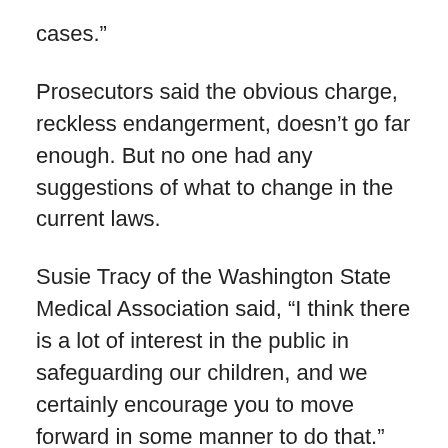cases.”
Prosecutors said the obvious charge, reckless endangerment, doesn’t go far enough. But no one had any suggestions of what to change in the current laws.
Susie Tracy of the Washington State Medical Association said, “I think there is a lot of interest in the public in safeguarding our children, and we certainly encourage you to move forward in some manner to do that.”
Some are pushing to require gun owners to use firearm locks and safe storage, an idea some lawmakers are already considering.